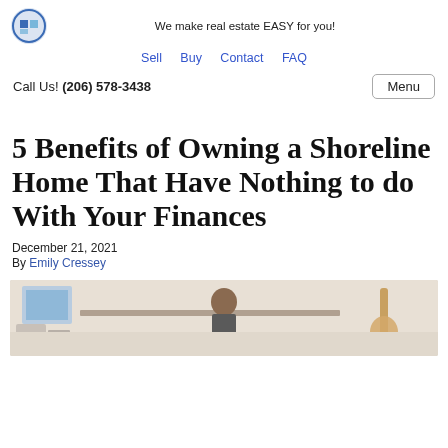We make real estate EASY for you!
Sell  Buy  Contact  FAQ
Call Us! (206) 578-3438   Menu
5 Benefits of Owning a Shoreline Home That Have Nothing to do With Your Finances
December 21, 2021
By Emily Cressey
[Figure (photo): Person sitting at a desk in a room with a guitar and wall decor, eating or thinking]